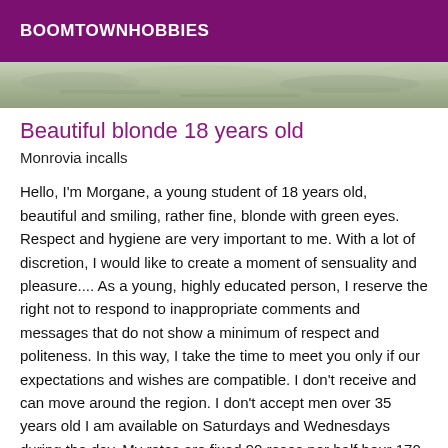BOOMTOWNHOBBIES
[Figure (photo): Partial photo strip showing what appears to be an outdoor or water scene]
Beautiful blonde 18 years old
Monrovia incalls
Hello, I'm Morgane, a young student of 18 years old, beautiful and smiling, rather fine, blonde with green eyes. Respect and hygiene are very important to me. With a lot of discretion, I would like to create a moment of sensuality and pleasure.... As a young, highly educated person, I reserve the right not to respond to inappropriate comments and messages that do not show a minimum of respect and politeness. In this way, I take the time to meet you only if our expectations and wishes are compatible. I don't receive and can move around the region. I don't accept men over 35 years old I am available on Saturdays and Wednesdays during the day. My rates are fixed 90 roses per half hour 170 roses per